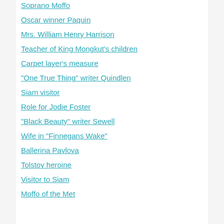Soprano Moffo
Oscar winner Paquin
Mrs. William Henry Harrison
Teacher of King Mongkut's children
Carpet layer's measure
"One True Thing" writer Quindlen
Siam visitor
Role for Jodie Foster
"Black Beauty" writer Sewell
Wife in "Finnegans Wake"
Ballerina Pavlova
Tolstoy heroine
Visitor to Siam
Moffo of the Met